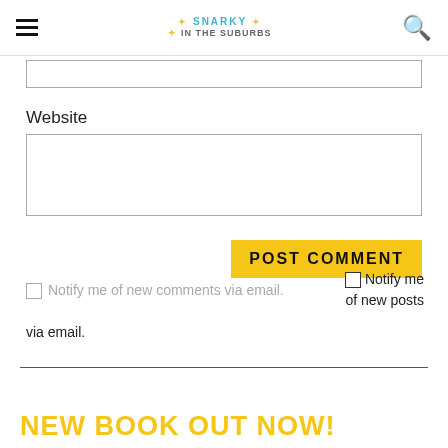Snarky in the Suburbs
Website
POST COMMENT
Notify me of new comments via email.
Notify me of new posts via email.
NEW BOOK OUT NOW!